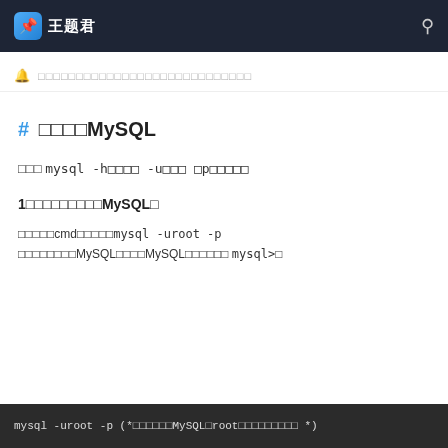王题君
□□□□□□□□□□□□□□□□□□□□□□□□□□□□
# □□□□MySQL
□□□ mysql -h□□□□ -u□□□ □p□□□□□
1□□□□□□□□□MySQL□
□□□□□cmd□□□□□mysql -uroot -p □□□□□□□□MySQL□□□□MySQL□□□□□□ mysql>□
[Figure (screenshot): Terminal/command prompt showing mysql -uroot -p command]